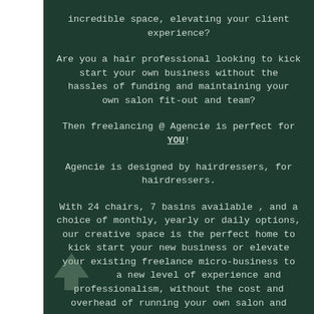incredible space, elevating your client experience?
Are you a hair professional looking to kick start your own business without the hassles of funding and maintaining your own salon fit-out and team?
Then freelancing @ Agencie is perfect for YOU!
Agencie is designed by hairdressers, for hairdressers.
With 24 chairs, 7 basins available , and a choice of monthly, yearly or daily options, our creative space is the perfect home to kick start your new business or elevate your existing freelance micro-business to a new level of experience and professionalism, without the cost and overhead of running your own salon and